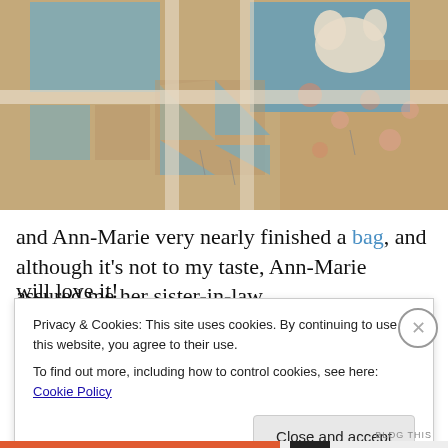[Figure (photo): Close-up photograph of a patchwork quilt with blue, tan/beige, and floral fabric pieces arranged in a star and square pattern on a table or surface.]
and Ann-Marie very nearly finished a bag, and although it's not to my taste, Ann-Marie assured me her sister-in-law will love it!
Privacy & Cookies: This site uses cookies. By continuing to use this website, you agree to their use.
To find out more, including how to control cookies, see here: Cookie Policy